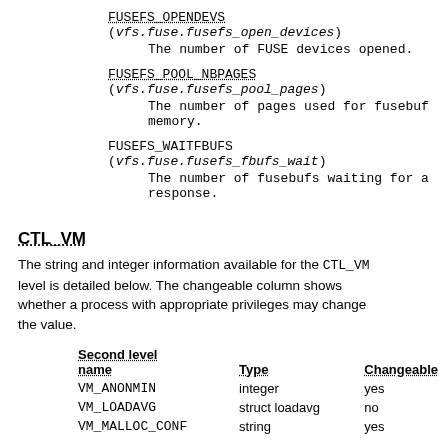FUSEFS_OPENDEVS (vfs.fuse.fusefs_open_devices) The number of FUSE devices opened.
FUSEFS_POOL_NBPAGES (vfs.fuse.fusefs_pool_pages) The number of pages used for fusebuf memory.
FUSEFS_WAITFBUFS (vfs.fuse.fusefs_fbufs_wait) The number of fusebufs waiting for a response.
CTL_VM
The string and integer information available for the CTL_VM level is detailed below. The changeable column shows whether a process with appropriate privileges may change the value.
| Second level name | Type | Changeable |
| --- | --- | --- |
| VM_ANONMIN | integer | yes |
| VM_LOADAVG | struct loadavg | no |
| VM_MALLOC_CONF | string | yes |